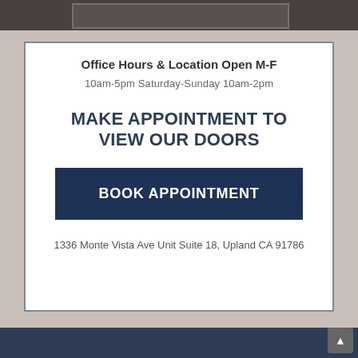Office Hours & Location Open M-F
10am-5pm Saturday-Sunday 10am-2pm
MAKE APPOINTMENT TO VIEW OUR DOORS
BOOK APPOINTMENT
1336 Monte Vista Ave Unit Suite 18, Upland CA 91786